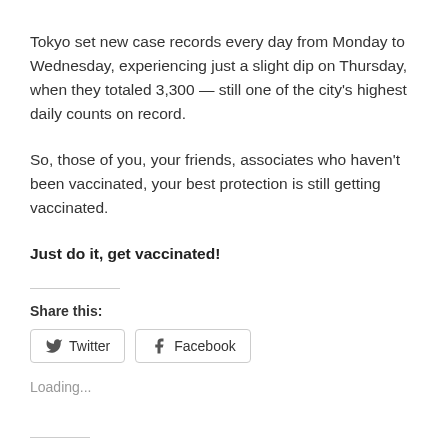Tokyo set new case records every day from Monday to Wednesday, experiencing just a slight dip on Thursday, when they totaled 3,300 — still one of the city's highest daily counts on record.
So, those of you, your friends, associates who haven't been vaccinated, your best protection is still getting vaccinated.
Just do it, get vaccinated!
Share this:
Twitter
Facebook
Loading...